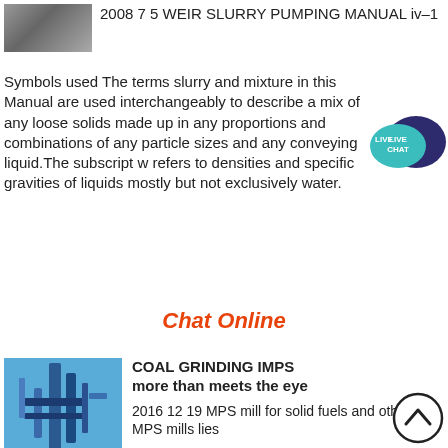[Figure (photo): Small thumbnail photo of industrial equipment, grayscale/muted tones]
2008 7 5 WEIR SLURRY PUMPING MANUAL iv–1
Symbols used The terms slurry and mixture in this Manual are used interchangeably to describe a mix of any loose solids made up in any proportions and combinations of any particle sizes and any conveying liquid.The subscript w refers to densities and specific gravities of liquids mostly but not exclusively water.
[Figure (illustration): Live Chat speech bubble icon in teal/blue colors with text LIVE CHAT]
Chat Online
[Figure (photo): Industrial coal grinding mill equipment with blue piping and structures]
COAL GRINDING IMPS more than meets the eye
2016 12 19 MPS mill for solid fuels and other MPS mills lies in its pressure shock resistance Mill and classifier housing feed unit and expansion joints are designed pressure shock resistant To avoid accumulations of coal dust as a source of